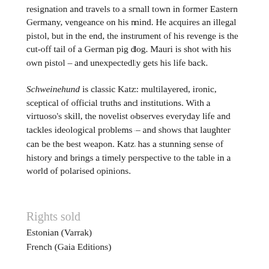resignation and travels to a small town in former Eastern Germany, vengeance on his mind. He acquires an illegal pistol, but in the end, the instrument of his revenge is the cut-off tail of a German pig dog. Mauri is shot with his own pistol – and unexpectedly gets his life back.
Schweinehund is classic Katz: multilayered, ironic, sceptical of official truths and institutions. With a virtuoso's skill, the novelist observes everyday life and tackles ideological problems – and shows that laughter can be the best weapon. Katz has a stunning sense of history and brings a timely perspective to the table in a world of polarised opinions.
Rights sold
Estonian (Varrak)
French (Gaia Editions)